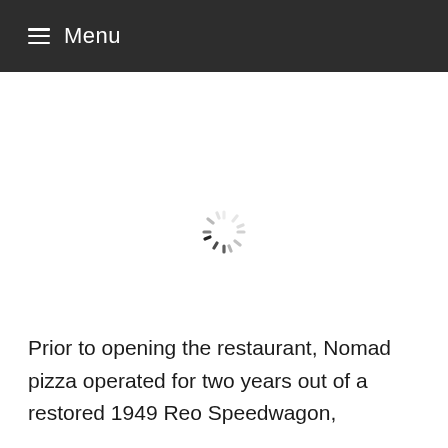≡ Menu
[Figure (other): A circular loading spinner animation indicator in gray, positioned in the center of the white content area.]
Prior to opening the restaurant, Nomad pizza operated for two years out of a restored 1949 Reo Speedwagon,